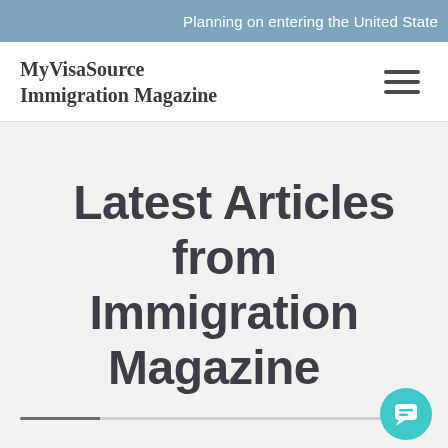Planning on entering the United State
MyVisaSource Immigration Magazine
Latest Articles from Immigration Magazine